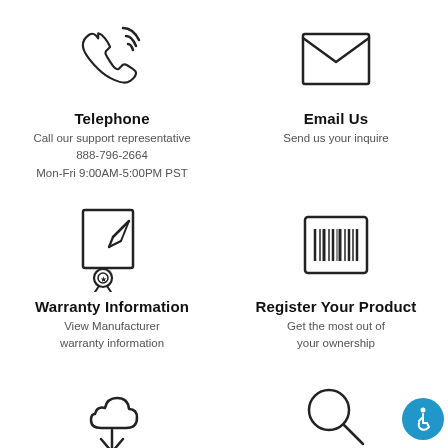[Figure (illustration): Phone/telephone icon with signal waves]
[Figure (illustration): Envelope/email icon]
Telephone
Call our support representative
888-796-2664
Mon-Fri 9:00AM-5:00PM PST
Email Us
Send us your inquire
[Figure (illustration): Document with pen and award/seal icon]
[Figure (illustration): Barcode/product registration icon]
Warranty Information
View Manufacturer warranty information
Register Your Product
Get the most out of your ownership
[Figure (illustration): Cloud with download arrow icon]
[Figure (illustration): Search/magnifying glass icon]
[Figure (illustration): Accessibility icon (wheelchair symbol in blue circle)]